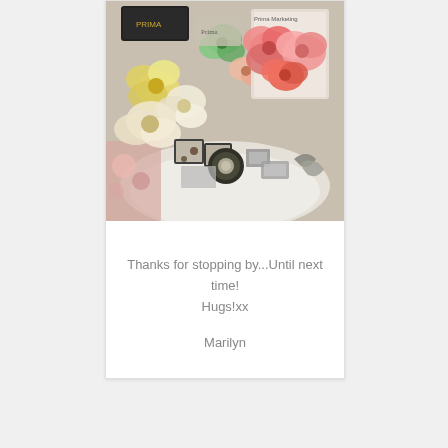[Figure (photo): Top-down photo of craft supplies including decorative flowers (yellow, pink/coral roses, green), small ephemera cards, and various embellishments arranged on a white fabric surface with floral patterned background.]
Thanks for stopping by...Until next time! Hugs!xx
Marilyn